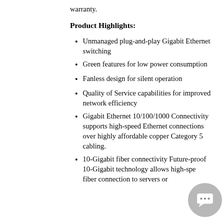warranty.
Product Highlights:
Unmanaged plug-and-play Gigabit Ethernet switching
Green features for low power consumption
Fanless design for silent operation
Quality of Service capabilities for improved network efficiency
Gigabit Ethernet 10/100/1000 Connectivity supports high-speed Ethernet connections over highly affordable copper Category 5 cabling.
10-Gigabit fiber connectivity Future-proof 10-Gigabit technology allows high-speed fiber connection to servers or